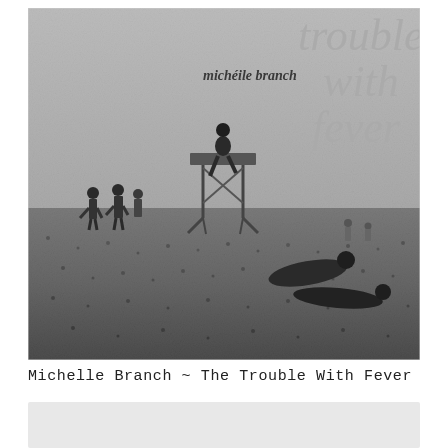[Figure (photo): Black and white album cover photo of a beach scene. People are on a pebble/rocky beach; a person sits atop a lifeguard chair structure in the center. Other people stand and lie on the beach around it. The top-right corner has cursive/script text overlay reading 'trouble with fever' and below/beside it smaller text 'michelle branch'.]
Michelle Branch ~ The Trouble With Fever